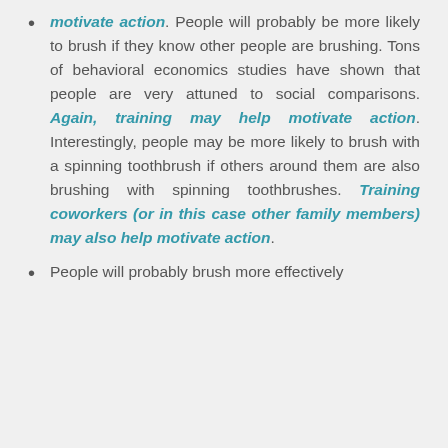motivate action. People will probably be more likely to brush if they know other people are brushing. Tons of behavioral economics studies have shown that people are very attuned to social comparisons. Again, training may help motivate action. Interestingly, people may be more likely to brush with a spinning toothbrush if others around them are also brushing with spinning toothbrushes. Training coworkers (or in this case other family members) may also help motivate action.
People will probably brush more effectively